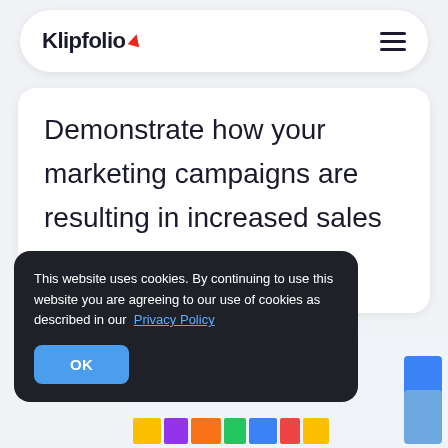Klipfolio
Demonstrate how your marketing campaigns are resulting in increased sales revenue.
This website uses cookies. By continuing to use this website you are agreeing to our use of cookies as described in our Privacy Policy
[Figure (screenshot): Partially visible bar chart or dashboard widget in the background]